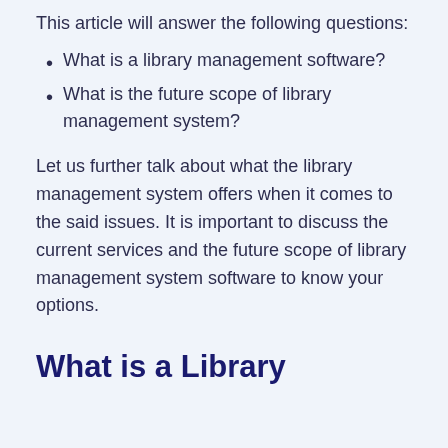This article will answer the following questions:
What is a library management software?
What is the future scope of library management system?
Let us further talk about what the library management system offers when it comes to the said issues. It is important to discuss the current services and the future scope of library management system software to know your options.
What is a Library